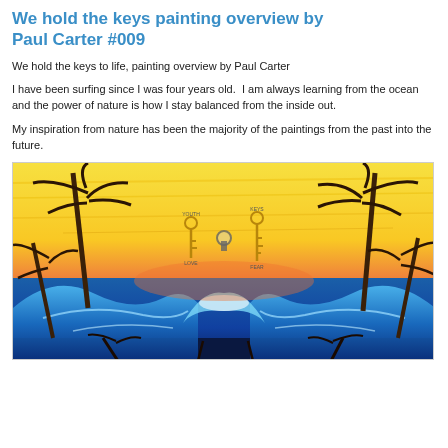We hold the keys painting overview by Paul Carter #009
We hold the keys to life, painting overview by Paul Carter
I have been surfing since I was four years old.  I am always learning from the ocean and the power of nature is how I stay balanced from the inside out.
My inspiration from nature has been the majority of the paintings from the past into the future.
[Figure (illustration): Painting titled 'We Hold the Keys' by Paul Carter showing a tropical beach scene with ocean waves, palm trees, a yellow/orange sunset sky, and symbolic keys labeled YOUTH/LOVE and KEYS/FEAR floating in the center with a keyhole shape.]